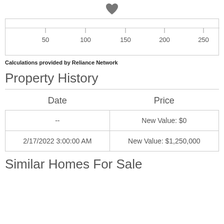[Figure (other): Heart/favorite icon at top center of page]
[Figure (continuous-plot): Partial horizontal chart with x-axis ticks at 50, 100, 150, 200, 250]
Calculations provided by Reliance Network
Property History
| Date | Price |
| --- | --- |
| -- | New Value: $0 |
| 2/17/2022 3:00:00 AM | New Value: $1,250,000 |
Similar Homes For Sale